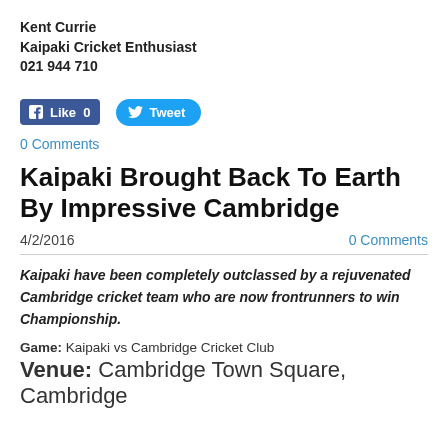Kent Currie
Kaipaki Cricket Enthusiast
021 944 710
[Figure (other): Facebook Like button (blue, count 0) and Twitter Tweet button (blue rounded)]
0 Comments
Kaipaki Brought Back To Earth By Impressive Cambridge
4/2/2016   0 Comments
Kaipaki have been completely outclassed by a rejuvenated Cambridge cricket team who are now frontrunners to win Championship.
Game: Kaipaki vs Cambridge Cricket Club
Venue: Cambridge Town Square, Cambridge